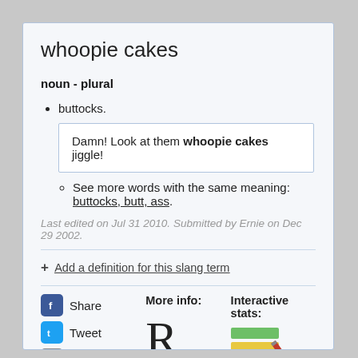whoopie cakes
noun - plural
buttocks.
Damn! Look at them whoopie cakes jiggle!
See more words with the same meaning: buttocks, butt, ass.
Last edited on Jul 31 2010. Submitted by Ernie on Dec 29 2002.
+ Add a definition for this slang term
Share
Tweet
More info:
Interactive stats: